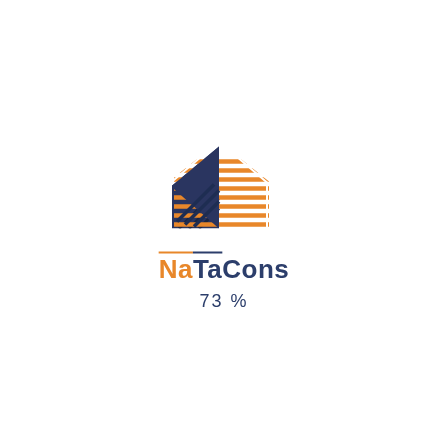[Figure (logo): NaTaCons company logo: an abstract house/building shape made of diagonal stripe layers in orange and dark navy blue, with the brand name NaTaCons below and 73% underneath]
73%